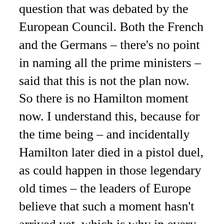question that was debated by the European Council. Both the French and the Germans – there's no point in naming all the prime ministers – said that this is not the plan now. So there is no Hamilton moment now. I understand this, because for the time being – and incidentally Hamilton later died in a pistol duel, as could happen in those legendary old times – the leaders of Europe believe that such a moment hasn't arrived yet, which is why in every single document they continually stress that this pandemic crisis management fund is unique and unrepeatable. But this is not quite an answer to what the Honourable Prime Minister suggested; because despite the fact that they haven't admitted to it, and without assuming any ill will on their part, it may well be